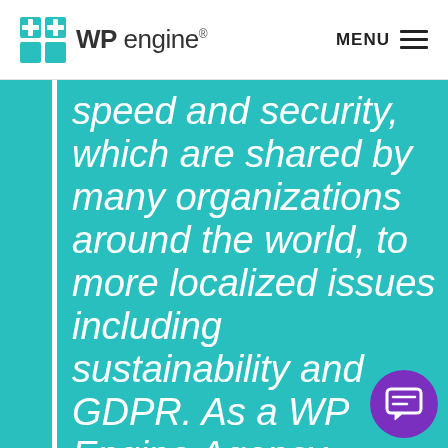WP engine® MENU
speed and security, which are shared by many organizations around the world, to more localized issues including sustainability and GDPR. As a WP Engine Agency Partn… we're able to provide